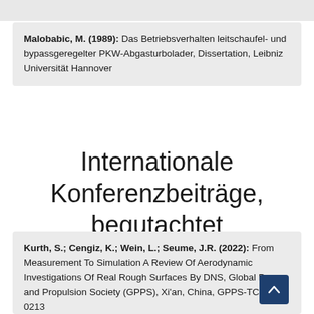Malobabic, M. (1989): Das Betriebsverhalten leitschaufel- und bypassgeregelter PKW-Abgasturbolader, Dissertation, Leibniz Universität Hannover
Internationale Konferenzbeiträge, begutachtet
Kurth, S.; Cengiz, K.; Wein, L.; Seume, J.R. (2022): From Measurement To Simulation A Review Of Aerodynamic Investigations Of Real Rough Surfaces By DNS, Global Power and Propulsion Society (GPPS), Xi'an, China, GPPS-TC-2021-0213 DOI: 10.33737/gpps21-tc-213